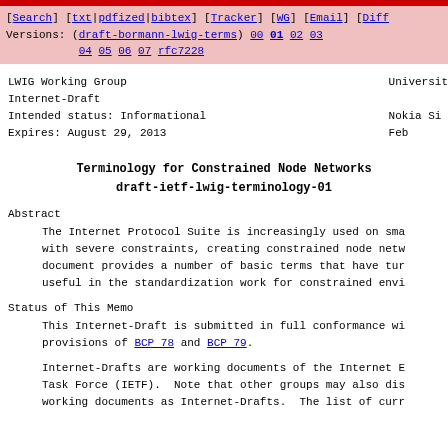[Search] [txt|pdfized|bibtex] [Tracker] [WG] [Email] [Diff
Versions: (draft-bormann-lwig-terms) 00 01 02 03
 04 05 06 07 rfc7228
LWIG Working Group
Internet-Draft                                          Universit
Intended status: Informational
Expires: August 29, 2013                                Nokia Si
                                                        Feb
Terminology for Constrained Node Networks
draft-ietf-lwig-terminology-01
Abstract
The Internet Protocol Suite is increasingly used on sma
with severe constraints, creating constrained node netw
document provides a number of basic terms that have tur
useful in the standardization work for constrained envi
Status of This Memo
This Internet-Draft is submitted in full conformance wi
provisions of BCP 78 and BCP 79.
Internet-Drafts are working documents of the Internet E
Task Force (IETF).  Note that other groups may also dis
working documents as Internet-Drafts.  The list of curr